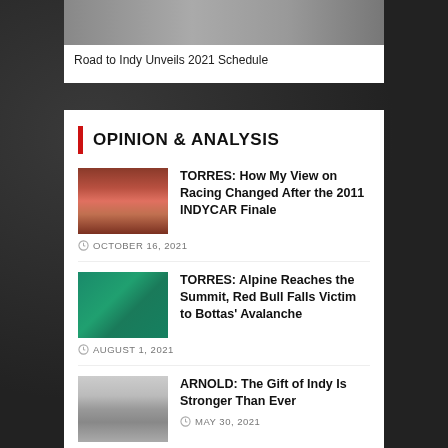[Figure (photo): Racing cars on track, partial view at top of page]
Road to Indy Unveils 2021 Schedule
OPINION & ANALYSIS
[Figure (photo): Crowd at a racing event, grandstands visible]
TORRES: How My View on Racing Changed After the 2011 INDYCAR Finale
OCTOBER 16, 2021
[Figure (photo): F1 podium celebration with French flag, Alpine branding]
TORRES: Alpine Reaches the Summit, Red Bull Falls Victim to Bottas' Avalanche
AUGUST 1, 2021
[Figure (photo): Indianapolis Motor Speedway aerial or track view]
ARNOLD: The Gift of Indy Is Stronger Than Ever
MAY 30, 2021